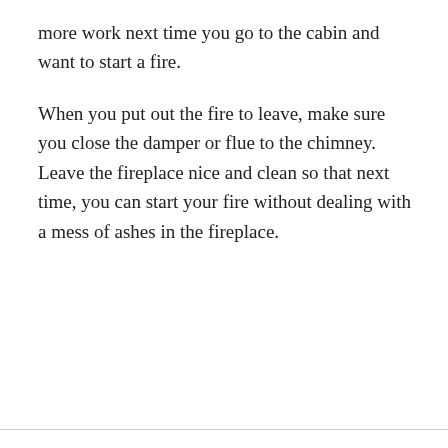more work next time you go to the cabin and want to start a fire.
When you put out the fire to leave, make sure you close the damper or flue to the chimney. Leave the fireplace nice and clean so that next time, you can start your fire without dealing with a mess of ashes in the fireplace.